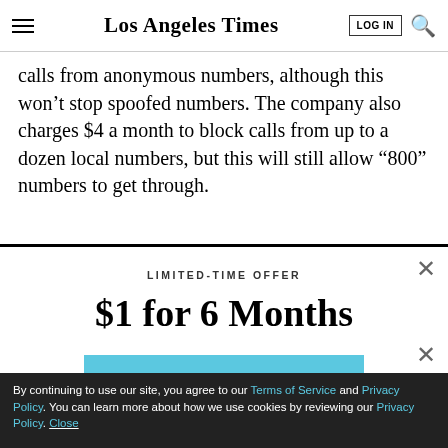Los Angeles Times
calls from anonymous numbers, although this won't stop spoofed numbers. The company also charges $4 a month to block calls from up to a dozen local numbers, but this will still allow “800” numbers to get through.
LIMITED-TIME OFFER
$1 for 6 Months
SUBSCRIBE NOW
By continuing to use our site, you agree to our Terms of Service and Privacy Policy. You can learn more about how we use cookies by reviewing our Privacy Policy. Close